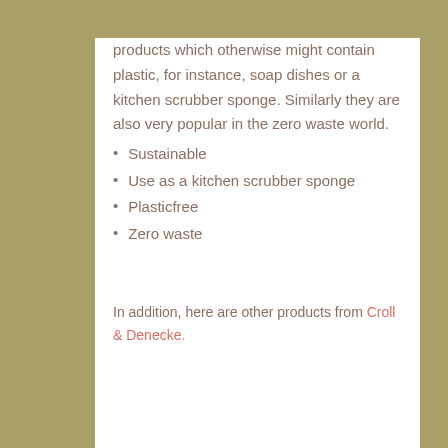products which otherwise might contain plastic, for instance, soap dishes or a kitchen scrubber sponge. Similarly they are also very popular in the zero waste world.
Sustainable
Use as a kitchen scrubber sponge
Plasticfree
Zero waste
In addition, here are other products from Croll & Denecke.